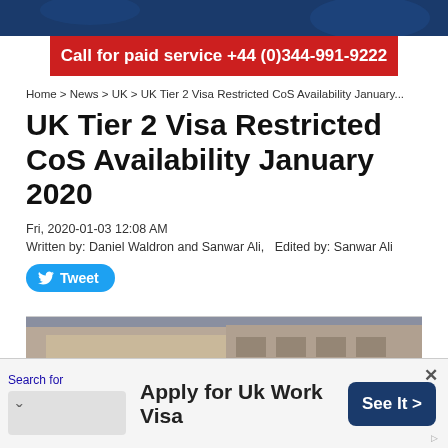Call for paid service +44 (0)344-991-9222
Home > News > UK > UK Tier 2 Visa Restricted CoS Availability January...
UK Tier 2 Visa Restricted CoS Availability January 2020
Fri, 2020-01-03 12:08 AM
Written by: Daniel Waldron and Sanwar Ali,   Edited by: Sanwar Ali
[Figure (screenshot): Tweet button with Twitter bird icon]
[Figure (photo): Crowd holding EU flags, Union Jack flag, and protest signs including 'STILL LYING' in front of a building with 'GRAND Cafe Concerto' signage]
Search for Apply for Uk Work Visa  See It >